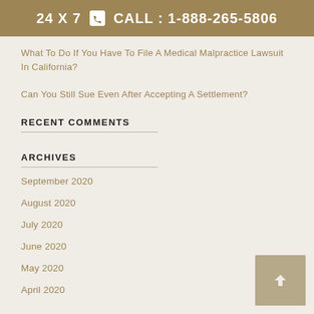24 X 7  CALL : 1-888-265-5806
What To Do If You Have To File A Medical Malpractice Lawsuit In California?
Can You Still Sue Even After Accepting A Settlement?
RECENT COMMENTS
ARCHIVES
September 2020
August 2020
July 2020
June 2020
May 2020
April 2020